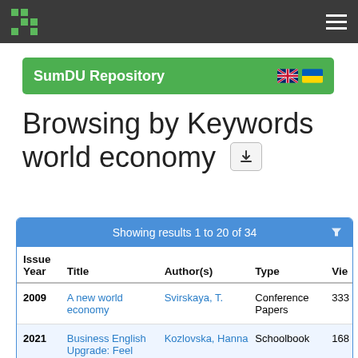SumDU Repository
Browsing by Keywords world economy
| Issue Year | Title | Author(s) | Type | Vie |
| --- | --- | --- | --- | --- |
| 2009 | A new world economy | Svirskaya, T. | Conference Papers | 333 |
| 2021 | Business English Upgrade: Feel | Kozlovska, Hanna | Schoolbook | 168 |